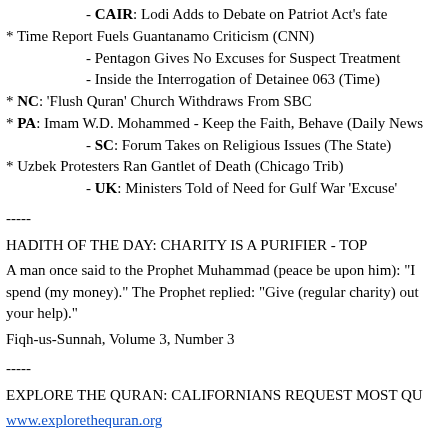- CAIR: Lodi Adds to Debate on Patriot Act's fate
* Time Report Fuels Guantanamo Criticism (CNN)
- Pentagon Gives No Excuses for Suspect Treatment
- Inside the Interrogation of Detainee 063 (Time)
* NC: 'Flush Quran' Church Withdraws From SBC
* PA: Imam W.D. Mohammed - Keep the Faith, Behave (Daily News)
- SC: Forum Takes on Religious Issues (The State)
* Uzbek Protesters Ran Gantlet of Death (Chicago Trib)
- UK: Ministers Told of Need for Gulf War 'Excuse'
-----
HADITH OF THE DAY: CHARITY IS A PURIFIER - TOP
A man once said to the Prophet Muhammad (peace be upon him): "I spend (my money)." The Prophet replied: "Give (regular charity) out your help)."
Fiqh-us-Sunnah, Volume 3, Number 3
-----
EXPLORE THE QURAN: CALIFORNIANS REQUEST MOST QU
www.explorethequran.org